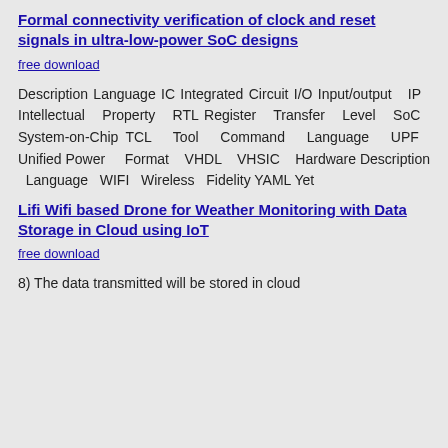Formal connectivity verification of clock and reset signals in ultra-low-power SoC designs
free download
Description Language IC Integrated Circuit I/O Input/output IP Intellectual Property RTL Register Transfer Level SoC System-on-Chip TCL Tool Command Language UPF Unified Power Format VHDL VHSIC Hardware Description Language WIFI Wireless Fidelity YAML Yet
Lifi Wifi based Drone for Weather Monitoring with Data Storage in Cloud using IoT
free download
8) The data transmitted will be stored in cloud